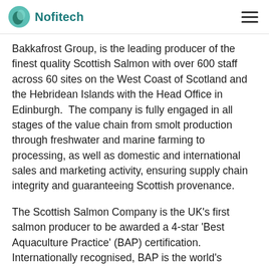Nofitech
Bakkafrost Group, is the leading producer of the finest quality Scottish Salmon with over 600 staff across 60 sites on the West Coast of Scotland and the Hebridean Islands with the Head Office in Edinburgh.  The company is fully engaged in all stages of the value chain from smolt production through freshwater and marine farming to processing, as well as domestic and international sales and marketing activity, ensuring supply chain integrity and guaranteeing Scottish provenance.
The Scottish Salmon Company is the UK's first salmon producer to be awarded a 4-star 'Best Aquaculture Practice' (BAP) certification. Internationally recognised, BAP is the world's